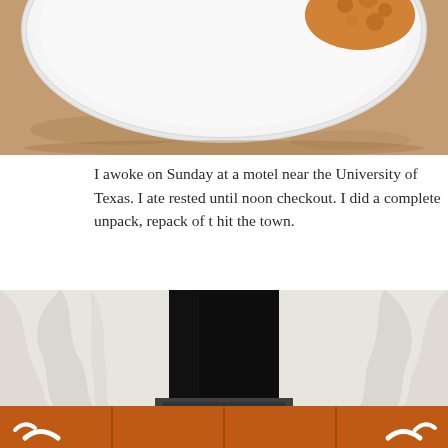[Figure (photo): Top portion of a photo showing food (fried chicken or similar) on a white paper plate, on a brownish surface, cropped from the top]
I awoke on Sunday at a motel near the University of Texas. I ate rested until noon checkout. I did a complete unpack, repack of t hit the town.
[Figure (photo): Photo of a large black rectangular panel or screen standing upright, draped with white fabric on both sides, sitting on orange University of Texas branded boxes/panels showing the Longhorn logo in white]